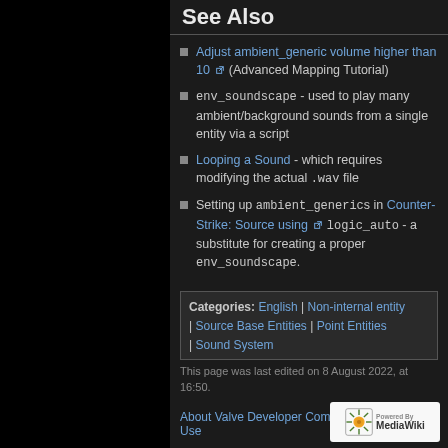See Also
Adjust ambient_generic volume higher than 10 (Advanced Mapping Tutorial)
env_soundscape - used to play many ambient/background sounds from a single entity via a script
Looping a Sound - which requires modifying the actual .wav file
Setting up ambient_generics in Counter-Strike: Source using logic_auto - a substitute for creating a proper env_soundscape.
| Categories |
| --- |
| English | Non-internal entity | Source Base Entities | Point Entities | Sound System |
This page was last edited on 8 August 2022, at 16:50.
About Valve Developer Community   Terms of Use
Third Party Legal Notices